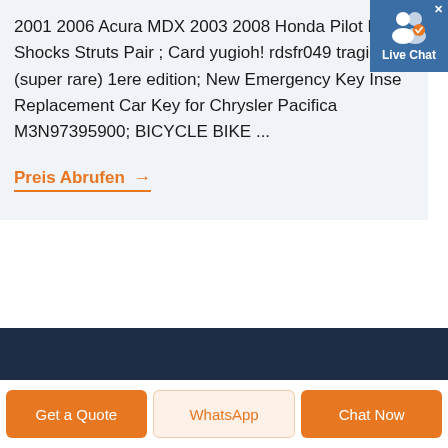2001 2006 Acura MDX 2003 2008 Honda Pilot Rear Shocks Struts Pair ; Card yugioh! rdsfr049 tragic (super rare) 1ere edition; New Emergency Key Inse Replacement Car Key for Chrysler Pacifica M3N97395900; BICYCLE BIKE ...
Preis Abrufen →
[Figure (other): Live Chat button overlay in top-right corner with user icon and 'Live Chat' text on blue background]
[Figure (other): Dark navy blue footer band]
Get a Quote
WhatsApp
Chat Now